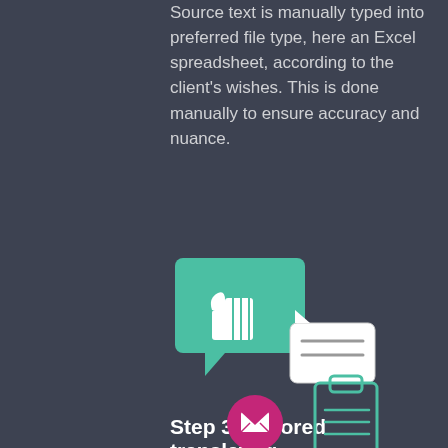Source text is manually typed into preferred file type, here an Excel spreadsheet, according to the client's wishes. This is done manually to ensure accuracy and nuance.
[Figure (illustration): Two speech bubbles: a large teal/green bubble with a thumbs-up icon, and a smaller white bubble with horizontal lines representing text.]
Step 3: Tailored translating
We discuss the client's needs and precise preferences with the translator, who then proceeds to translate the document. We maintain contact with the client and translator to ensure it is progressing seamlessly.
[Figure (illustration): Pink/magenta circular email button icon with envelope symbol, and a teal clipboard icon partially visible at bottom.]